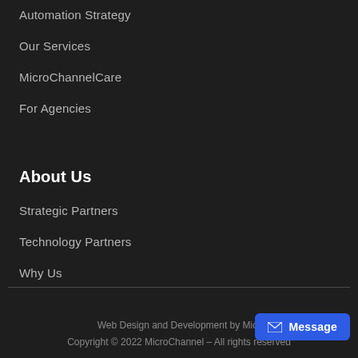Automation Strategy
Our Services
MicroChannelCare
For Agencies
About Us
Strategic Partners
Technology Partners
Why Us
Web Design and Development by Micr...
Copyright © 2022 MicroChannel – All rights reserved